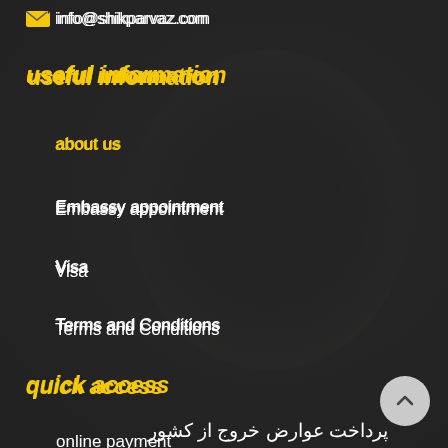info@shikparvaz.com
useful information
about us
Embassy appointment
Visa
Terms and Conditions
quick access
online payment
Register complaints
پرداخت عوارض خروج از کشور